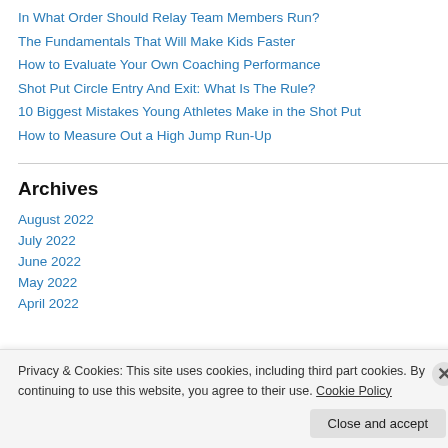In What Order Should Relay Team Members Run?
The Fundamentals That Will Make Kids Faster
How to Evaluate Your Own Coaching Performance
Shot Put Circle Entry And Exit: What Is The Rule?
10 Biggest Mistakes Young Athletes Make in the Shot Put
How to Measure Out a High Jump Run-Up
Archives
August 2022
July 2022
June 2022
May 2022
April 2022
Privacy & Cookies: This site uses cookies, including third part cookies. By continuing to use this website, you agree to their use. Cookie Policy
Close and accept